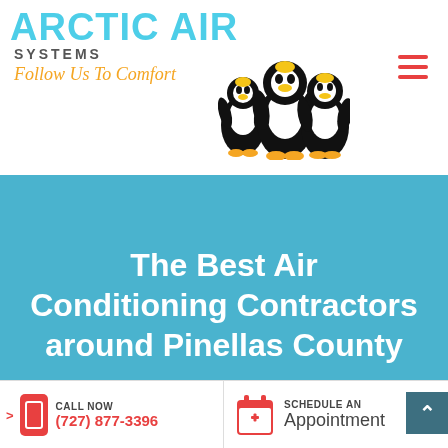[Figure (logo): Arctic Air Systems logo with penguins and tagline 'Follow Us To Comfort']
The Best Air Conditioning Contractors around Pinellas County
CALL NOW (727) 877-3396
SCHEDULE AN Appointment